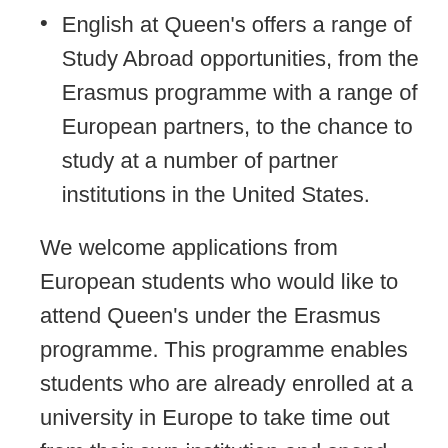English at Queen's offers a range of Study Abroad opportunities, from the Erasmus programme with a range of European partners, to the chance to study at a number of partner institutions in the United States.
We welcome applications from European students who would like to attend Queen's under the Erasmus programme. This programme enables students who are already enrolled at a university in Europe to take time out from their own institution and spend either one semester or a full academic year at Queen's.
Additionally, the Study Abroad programme